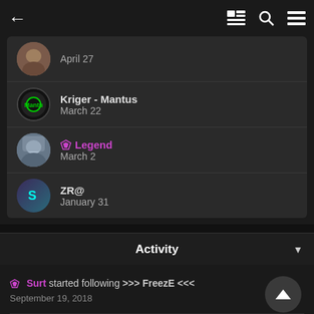← (back) [news icon] [search icon] [menu icon]
April 27
Kriger - Mantus
March 22
♦ Legend
March 2
ZR@
January 31
Activity
♦ Surt started following >>> FreezE <<<
September 19, 2018
♦ Surt started following dozy